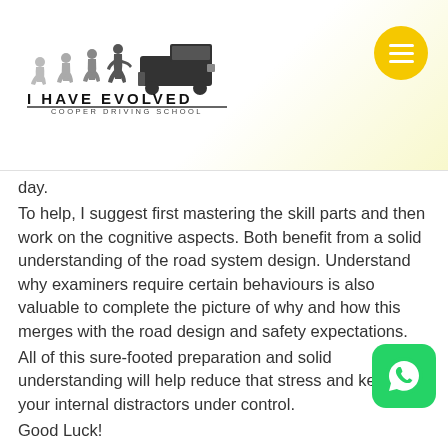[Figure (logo): I Have Evolved Cooper Driving School logo with evolution silhouette figures and truck]
day.
To help, I suggest first mastering the skill parts and then work on the cognitive aspects. Both benefit from a solid understanding of the road system design. Understand why examiners require certain behaviours is also valuable to complete the picture of why and how this merges with the road design and safety expectations.
All of this sure-footed preparation and solid understanding will help reduce that stress and keep your internal distractors under control.
Good Luck!
Category
ICBC Driving Test - 5, 5L, 7, 7L, N   New Canadians
Tags